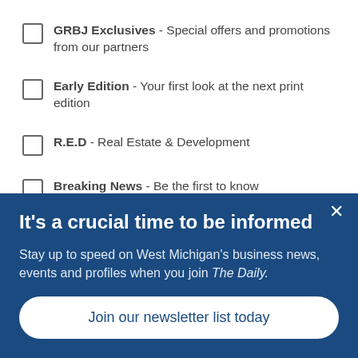GRBJ Exclusives - Special offers and promotions from our partners
Early Edition - Your first look at the next print edition
R.E.D - Real Estate & Development
Breaking News - Be the first to know
Michigan Made - Manufacturing, Innovation & Technology
The Pulse - Health, Medical & Life Sciences
It's a crucial time to be informed
Stay up to speed on West Michigan's business news, events and profiles when you join The Daily.
Join our newsletter list today